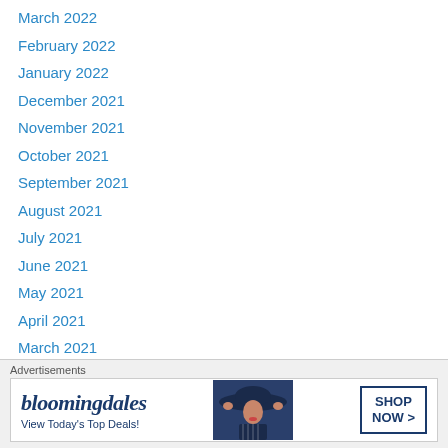March 2022
February 2022
January 2022
December 2021
November 2021
October 2021
September 2021
August 2021
July 2021
June 2021
May 2021
April 2021
March 2021
February 2021
January 2021
December 2020
November 2020
[Figure (screenshot): Bloomingdale's advertisement banner with text 'View Today's Top Deals!' and 'SHOP NOW >' button, featuring a woman in a wide-brim hat]